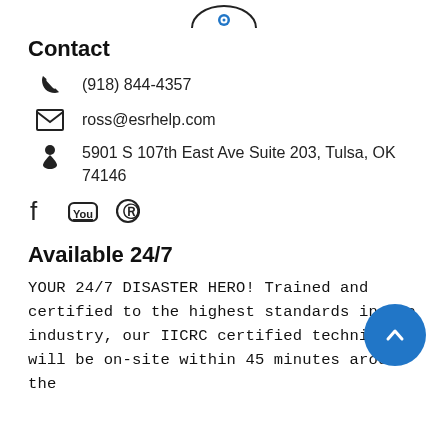[Figure (logo): Partial logo image at the top center of the page]
Contact
(918) 844-4357
ross@esrhelp.com
5901 S 107th East Ave Suite 203, Tulsa, OK 74146
[Figure (illustration): Social media icons: Facebook, YouTube, Pinterest]
Available 24/7
YOUR 24/7 DISASTER HERO! Trained and certified to the highest standards in the industry, our IICRC certified technicians will be on-site within 45 minutes around the